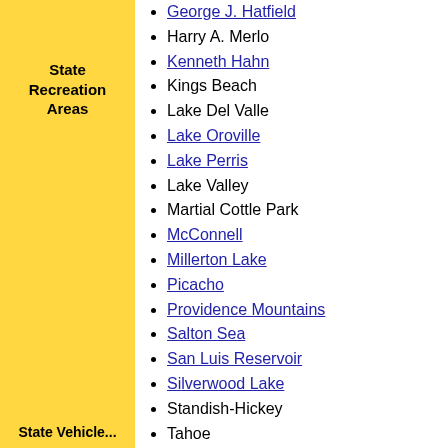State Recreation Areas
George J. Hatfield
Harry A. Merlo
Kenneth Hahn
Kings Beach
Lake Del Valle
Lake Oroville
Lake Perris
Lake Valley
Martial Cottle Park
McConnell
Millerton Lake
Picacho
Providence Mountains
Salton Sea
San Luis Reservoir
Silverwood Lake
Standish-Hickey
Tahoe
Turlock Lake
Woodson Bridge
Carnegie
Clay Pit
Heber Dunes
Hollister Hills